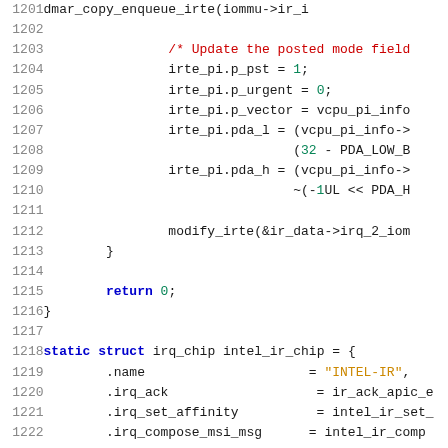[Figure (screenshot): C source code snippet showing lines 1201-1222 of a kernel driver file, featuring irte_pi field assignments and intel_ir_chip struct definition.]